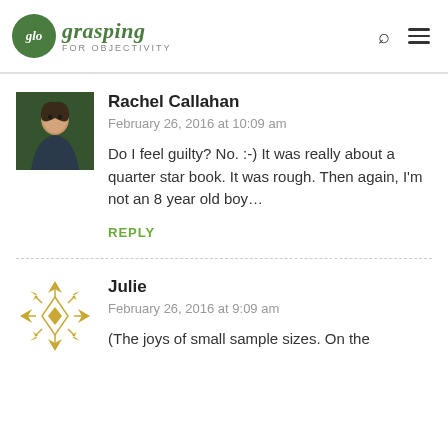glo grasping FOR OBJECTIVITY
Rachel Callahan
February 26, 2016 at 10:09 am
Do I feel guilty? No. :-) It was really about a quarter star book. It was rough. Then again, I'm not an 8 year old boy…
REPLY
Julie
February 26, 2016 at 9:09 am
(The joys of small sample sizes. On the